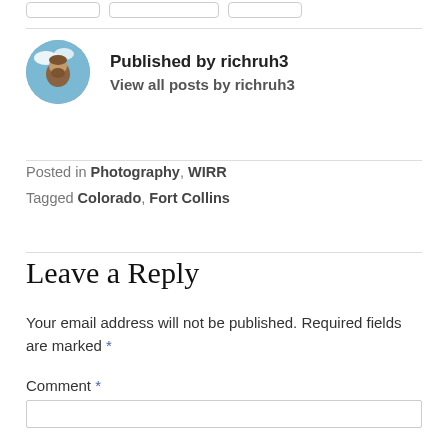[Figure (photo): Circular avatar photo of richruh3, showing a bearded man outdoors with sky background]
Published by richruh3
View all posts by richruh3
Posted in Photography, WIRR
Tagged Colorado, Fort Collins
Leave a Reply
Your email address will not be published. Required fields are marked *
Comment *